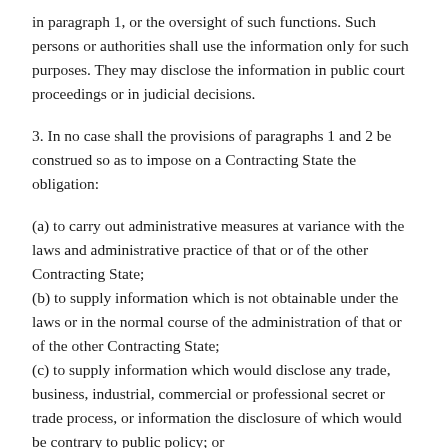in paragraph 1, or the oversight of such functions. Such persons or authorities shall use the information only for such purposes. They may disclose the information in public court proceedings or in judicial decisions.
3. In no case shall the provisions of paragraphs 1 and 2 be construed so as to impose on a Contracting State the obligation:
(a) to carry out administrative measures at variance with the laws and administrative practice of that or of the other Contracting State;
(b) to supply information which is not obtainable under the laws or in the normal course of the administration of that or of the other Contracting State;
(c) to supply information which would disclose any trade, business, industrial, commercial or professional secret or trade process, or information the disclosure of which would be contrary to public policy; or